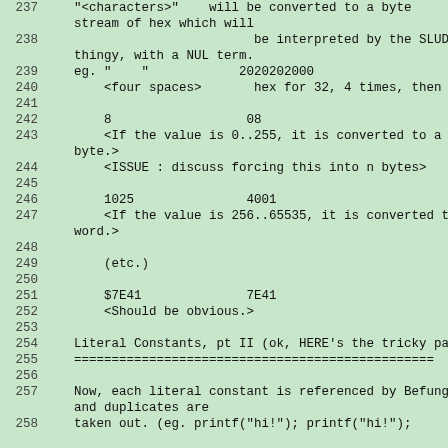237     "<characters>"    will be converted to a byte stream of hex which will
238                            be interpreted by the SLUDG thingy, with a NUL term.
239 eg. "    "            2020202000
240     <four spaces>       hex for 32, 4 times, then N
241
242     8                  08
243     <If the value is 0..255, it is converted to a byte.>
244     <ISSUE : discuss forcing this into n bytes>
245
246     1025                4001
247     <If the value is 256..65535, it is converted to word.>
248
249     (etc.)
250
251     $7E41              7E41
252     <Should be obvious.>
253
254 Literal Constants, pt II (ok, HERE's the tricky par
255 =================================
256
257 Now, each literal constant is referenced by Befunge and duplicates are
258 taken out. (eg. printf("hi!"); printf("hi!");